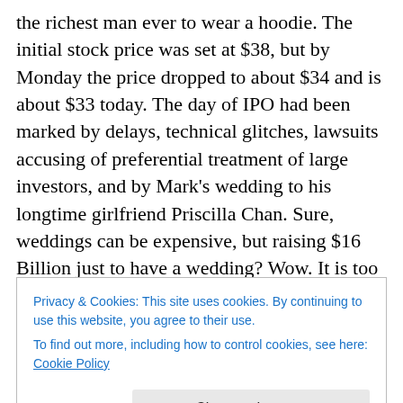the richest man ever to wear a hoodie.  The initial stock price was set at $38, but by Monday the price dropped to about $34 and is about $33 today.  The day of IPO had been marked by delays, technical glitches, lawsuits accusing of preferential treatment of large investors, and by Mark's wedding to his longtime girlfriend Priscilla Chan.  Sure, weddings can be expensive, but raising $16 Billion just to have a wedding?  Wow.  It is too early to tell if the marriage will be successful, but most experts have already concluded that Facebook IPO was a flop.  So here are 10 reasons why Facebook IPO was a flop.
Privacy & Cookies: This site uses cookies. By continuing to use this website, you agree to their use.
To find out more, including how to control cookies, see here: Cookie Policy